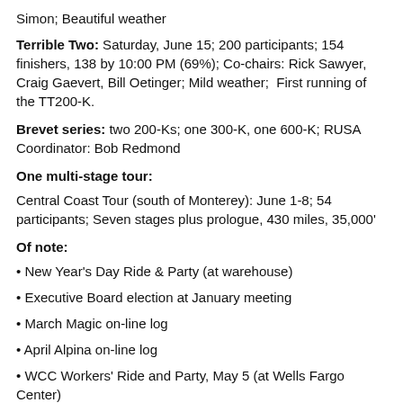Simon; Beautiful weather
Terrible Two: Saturday, June 15; 200 participants; 154 finishers, 138 by 10:00 PM (69%); Co-chairs: Rick Sawyer, Craig Gaevert, Bill Oetinger; Mild weather; First running of the TT200-K.
Brevet series: two 200-Ks; one 300-K, one 600-K; RUSA Coordinator: Bob Redmond
One multi-stage tour:
Central Coast Tour (south of Monterey): June 1-8; 54 participants; Seven stages plus prologue, 430 miles, 35,000'
Of note:
• New Year's Day Ride & Party (at warehouse)
• Executive Board election at January meeting
• March Magic on-line log
• April Alpina on-line log
• WCC Workers' Ride and Party, May 5 (at Wells Fargo Center)